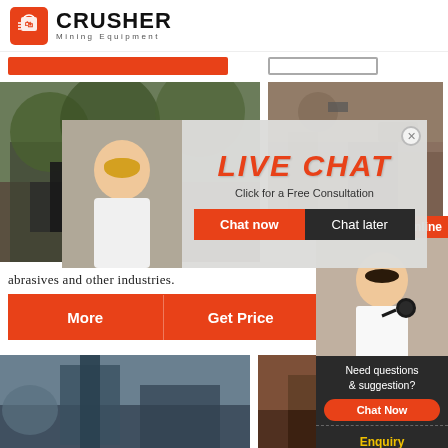[Figure (logo): Crusher Mining Equipment logo with red shopping bag icon and bold CRUSHER text]
[Figure (screenshot): Orange and outlined nav bar buttons]
[Figure (photo): Mining/industrial equipment scene on the left background image]
[Figure (photo): Mining site scene on the right background image]
[Figure (screenshot): Live Chat popup overlay with two people photos, LIVE CHAT title, Chat now and Chat later buttons]
abrasives and other industries.
[Figure (screenshot): Orange action buttons: More and Get Price]
Email c
[Figure (screenshot): Right sidebar: 24Hrs Online orange banner, agent photo, Need questions & suggestion?, Chat Now button, Enquiry link, limingjlmofen@sina.com]
[Figure (photo): Bottom left industrial/machinery photo]
[Figure (photo): Bottom right industrial site photo]